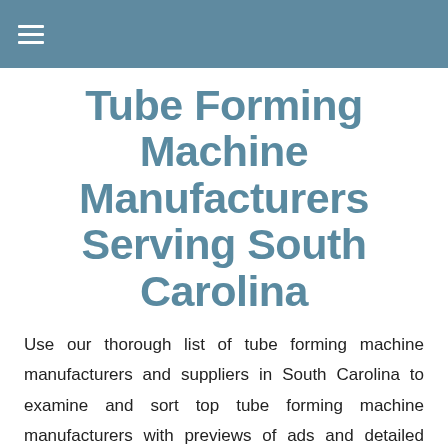≡
Tube Forming Machine Manufacturers Serving South Carolina
Use our thorough list of tube forming machine manufacturers and suppliers in South Carolina to examine and sort top tube forming machine manufacturers with previews of ads and detailed descriptions of each product. Any tube forming machine manufacturers can provide tube forming machine product and services to meet your